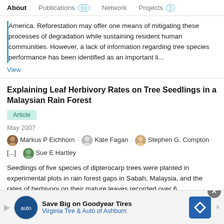About   Publications 59   Network   Projects 3
America. Reforestation may offer one means of mitigating these processes of degradation while sustaining resident human communities. However, a lack of information regarding tree species performance has been identified as an important li...
View
Explaining Leaf Herbivory Rates on Tree Seedlings in a Malaysian Rain Forest
Article
May 2007
Markus P Eichhorn · Kate Fagan · Stephen G. Compton · [...] · Sue E Hartley
Seedlings of five species of dipterocarp trees were planted in experimental plots in rain forest gaps in Sabah, Malaysia, and the rates of herbivory on their mature leaves recorded over 6
[Figure (infographic): Advertisement banner: Save Big on Goodyear Tires - Virginia Tire & Auto of Ashburn]